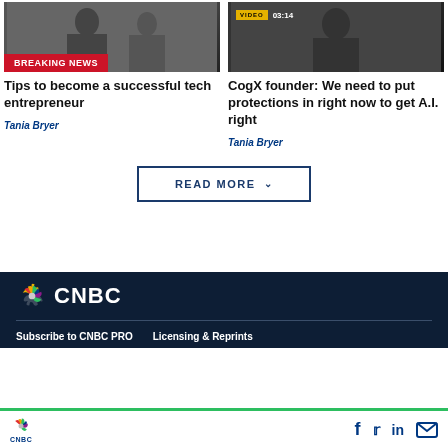[Figure (screenshot): Thumbnail image of two people with a red BREAKING NEWS banner overlay]
Tips to become a successful tech entrepreneur
Tania Bryer
[Figure (screenshot): Thumbnail image of a person with a VIDEO 03:14 badge]
CogX founder: We need to put protections in right now to get A.I. right
Tania Bryer
READ MORE
CNBC footer with Subscribe to CNBC PRO and Licensing & Reprints links
CNBC bottom bar with social icons: Facebook, Twitter, LinkedIn, Email